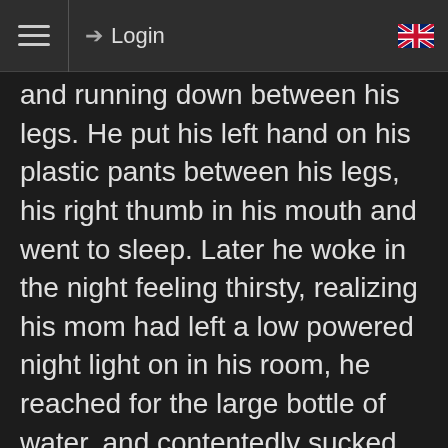≡  ➔ Login  🇬🇧
and running down between his legs. He put his left hand on his plastic pants between his legs, his right thumb in his mouth and went to sleep. Later he woke in the night feeling thirsty, realizing his mom had left a low powered night light on in his room, he reached for the large bottle of water, and contentedly sucked on the rubber teat until the bottle was empty. from the feel of his diapers, he'd actually wet at least once in his sleep and, with all that water inside him, he would be wetting again. His last thought before falling back to sleep was that it was a good job his mom had put him in plastic